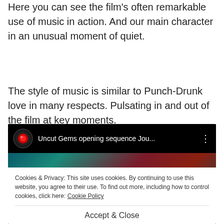Here you can see the film's often remarkable use of music in action. And our main character in an unusual moment of quiet.
The style of music is similar to Punch-Drunk love in many respects. Pulsating in and out of the film at key moments.
[Figure (screenshot): Screenshot of an embedded YouTube video player showing 'Uncut Gems opening sequence Jou...' with a cookie consent overlay reading: 'Cookies & Privacy: This site uses cookies. By continuing to use this website, you agree to their use. To find out more, including how to control cookies, click here: Cookie Policy' and an 'Accept & Close' button.]